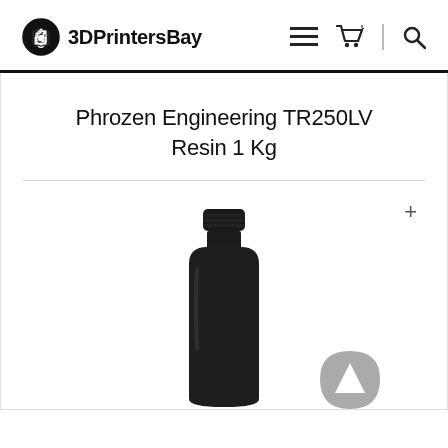3DPrintersBay
Phrozen Engineering TR250LV Resin 1 Kg
[Figure (photo): A dark opaque bottle of Phrozen Engineering TR250LV Resin 1 Kg with a black screw cap, shown against a white background. A grey geometric badge/logo is partially visible in the lower right corner.]